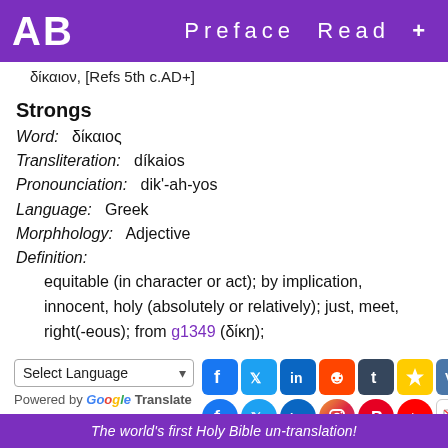AB   Preface  Read  +
δίκαιον, [Refs 5th c.AD+]
Strongs
Word:   δίκαιος
Transliteration:   díkaios
Pronounciation:   dik'-ah-yos
Language:   Greek
Morphhology:   Adjective
Definition:
equitable (in character or act); by implication, innocent, holy (absolutely or relatively); just, meet, right(-eous); from g1349 (δίκη);
[Figure (infographic): Select Language dropdown with Google Translate branding and social media sharing icons (Facebook, Twitter, LinkedIn, Reddit, Tumblr, Ameba, VK, Weibo in top row; Facebook, Twitter, LinkedIn, Instagram, Pinterest, YouTube, Email, Buy in bottom row)]
The world's first Holy Bible un-translation!